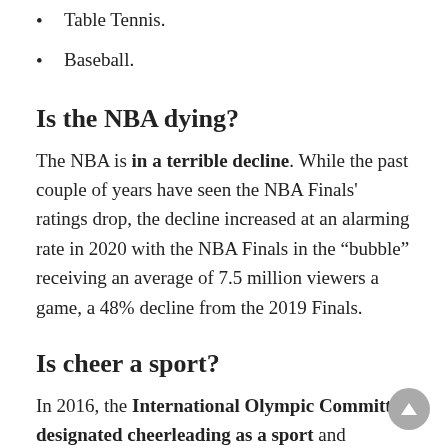Table Tennis.
Baseball.
Is the NBA dying?
The NBA is in a terrible decline. While the past couple of years have seen the NBA Finals' ratings drop, the decline increased at an alarming rate in 2020 with the NBA Finals in the “bubble” receiving an average of 7.5 million viewers a game, a 48% decline from the 2019 Finals.
Is cheer a sport?
In 2016, the International Olympic Committee designated cheerleading as a sport and assigned a national governing body. Additionally, 31 states recognized competitive spirit as a sport in the 2018-19